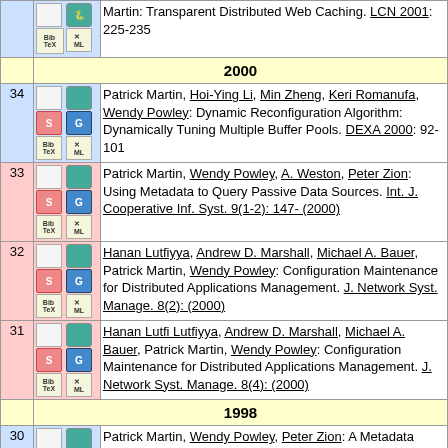Martin: Transparent Distributed Web Caching. LCN 2001: 225-235
2000
34. Patrick Martin, Hoi-Ying Li, Min Zheng, Keri Romanufa, Wendy Powley: Dynamic Reconfiguration Algorithm: Dynamically Tuning Multiple Buffer Pools. DEXA 2000: 92-101
33. Patrick Martin, Wendy Powley, A. Weston, Peter Zion: Using Metadata to Query Passive Data Sources. Int. J. Cooperative Inf. Syst. 9(1-2): 147- (2000)
32. Hanan Lutfiyya, Andrew D. Marshall, Michael A. Bauer, Patrick Martin, Wendy Powley: Configuration Maintenance for Distributed Applications Management. J. Network Syst. Manage. 8(2): (2000)
31. Hanan Lutfi Lutfiyya, Andrew D. Marshall, Michael A. Bauer, Patrick Martin, Wendy Powley: Configuration Maintenance for Distributed Applications Management. J. Network Syst. Manage. 8(4): (2000)
1998
30. Patrick Martin, Wendy Powley, Peter Zion: A Metadata Repository API. KRDB 1998: 13.1-13.8